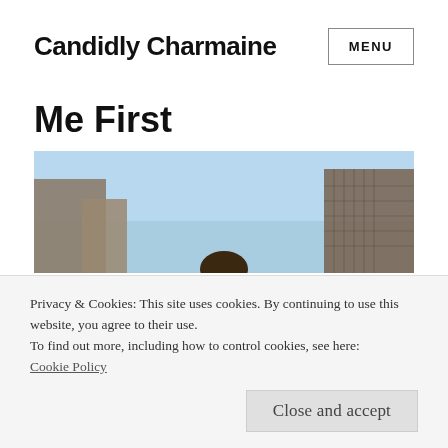Candidly Charmaine
Me First
[Figure (photo): Cityscape photo showing buildings and blue sky with a person partially visible at the bottom center]
Privacy & Cookies: This site uses cookies. By continuing to use this website, you agree to their use.
To find out more, including how to control cookies, see here:
Cookie Policy
Close and accept